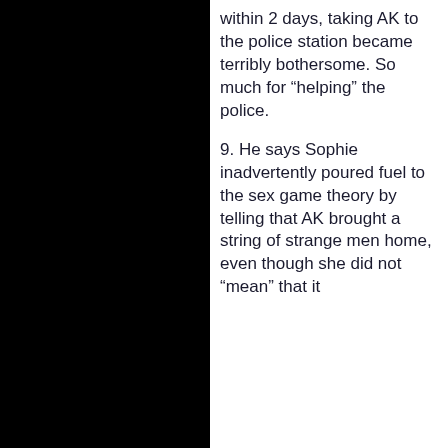within 2 days, taking AK to the police station became terribly bothersome. So much for “helping” the police.
9. He says Sophie inadvertently poured fuel to the sex game theory by telling that AK brought a string of strange men home, even though she did not “mean” that it